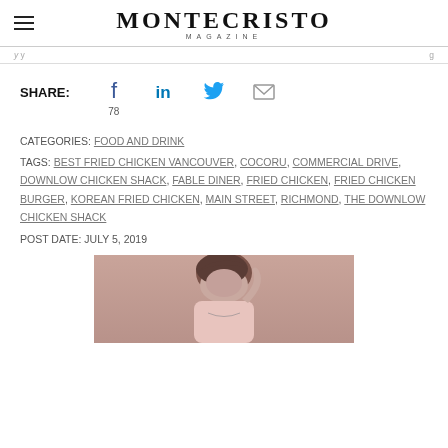MONTECRISTO MAGAZINE
SHARE: [Facebook 78] [LinkedIn] [Twitter] [Email]
CATEGORIES: FOOD AND DRINK
TAGS: BEST FRIED CHICKEN VANCOUVER, COCORU, COMMERCIAL DRIVE, DOWNLOW CHICKEN SHACK, FABLE DINER, FRIED CHICKEN, FRIED CHICKEN BURGER, KOREAN FRIED CHICKEN, MAIN STREET, RICHMOND, THE DOWNLOW CHICKEN SHACK
POST DATE: JULY 5, 2019
[Figure (photo): Person looking down, wearing pink top, with hand raised near head]